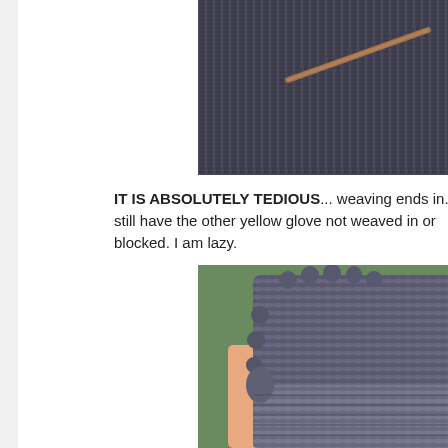[Figure (photo): Close-up photo of dark grey/charcoal knitting in progress, partially cropped, with knitting needle visible.]
IT IS ABSOLUTELY TEDIOUS... weaving ends in. I still have the other yellow glove not weaved in or blocked. I am lazy.
[Figure (photo): Photo of a hand wearing a dark grey/charcoal fingerless knitted glove, showing a textured knit pattern with bobbles at the finger openings.]